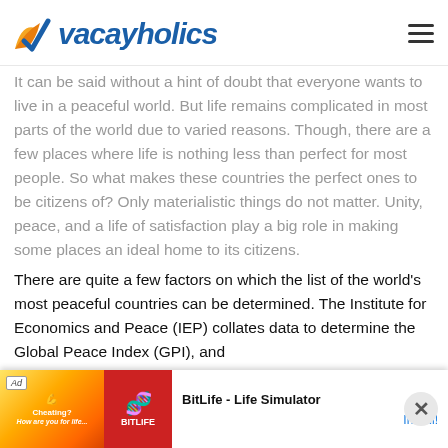vacayholics
It can be said without a hint of doubt that everyone wants to live in a peaceful world. But life remains complicated in most parts of the world due to varied reasons. Though, there are a few places where life is nothing less than perfect for most people. So what makes these countries the perfect ones to be citizens of? Only materialistic things do not matter. Unity, peace, and a life of satisfaction play a big role in making some places an ideal home to its citizens.

There are quite a few factors on which the list of the world’s most peaceful countries can be determined. The Institute for Economics and Peace (IEP) collates data to determine the Global Peace Index (GPI), and
[Figure (screenshot): Advertisement banner at the bottom: BitLife - Life Simulator app ad with colorful images and Install button]